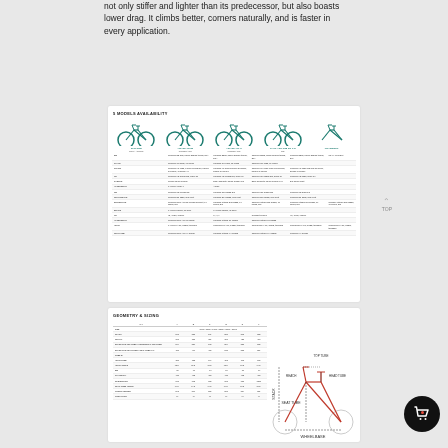not only stiffer and lighter than its predecessor, but also boasts lower drag. It climbs better, corners naturally, and is faster in every application.
[Figure (other): 5 models availability table showing five road/TT bicycles with specifications including groupset, brakes, wheels, tires, handlebar, seatpost, saddle, frame, fork, and other components across five model variants]
[Figure (other): Geometry & Sizing table with columns XS, S, M, L, XL, XX showing geometry measurements including stack, reach, effective top tube, seat tube, head tube angle, seat tube angle, chainstay, wheelbase, BB drop, and other measurements, alongside a bicycle geometry diagram]